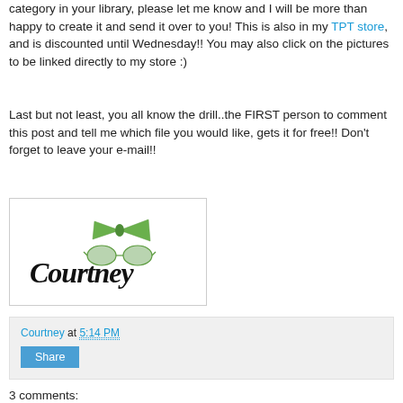category in your library, please let me know and I will be more than happy to create it and send it over to you! This is also in my TPT store, and is discounted until Wednesday!! You may also click on the pictures to be linked directly to my store :)
Last but not least, you all know the drill..the FIRST person to comment this post and tell me which file you would like, gets it for free!! Don't forget to leave your e-mail!!
[Figure (illustration): Signature image showing the name 'Courtney' in cursive/handwritten font with a green bow tie graphic]
Courtney at 5:14 PM
Share
3 comments: